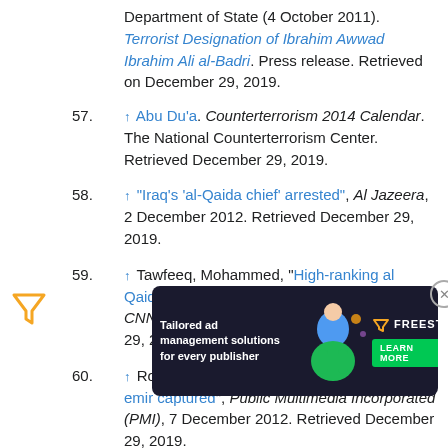Department of State (4 October 2011). Terrorist Designation of Ibrahim Awwad Ibrahim Ali al-Badri. Press release. Retrieved on December 29, 2019.
57. ↑ Abu Du'a. Counterterrorism 2014 Calendar. The National Counterterrorism Center. Retrieved December 29, 2019.
58. ↑ "Iraq's 'al-Qaida chief' arrested", Al Jazeera, 2 December 2012. Retrieved December 29, 2019.
59. ↑ Tawfeeq, Mohammed, "High-ranking al Qaida in Iraq figure arrested, officials say", CNN, 3 December 2012. Retrieved December 29, 2019.
60. ↑ Roggio, Bill. "Islamic State of Iraq denies its emir captured", Public Multimedia Incorporated (PMI), 7 December 2012. Retrieved December 29, 2019.
61. ↑ A... Iraq lea... d December 29, 2019.